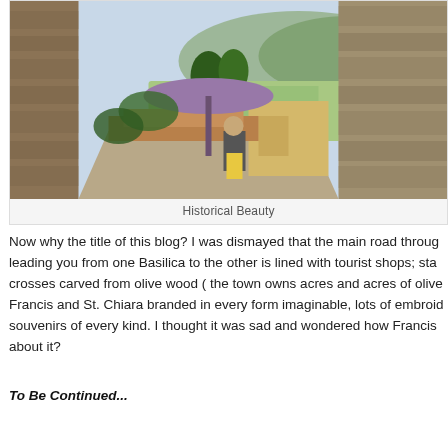[Figure (photo): A narrow Italian alley/street between old stone buildings, with a purple umbrella visible, and a scenic valley view in the background. A person with a yellow bag is in the scene. Terracotta rooftops and green hills visible.]
Historical Beauty
Now why the title of this blog? I was dismayed that the main road through leading you from one Basilica to the other is lined with tourist shops; sta crosses carved from olive wood ( the town owns acres and acres of olive Francis and St. Chiara branded in every form imaginable, lots of embroid souvenirs of every kind. I thought it was sad and wondered how Francis about it?
To Be Continued...